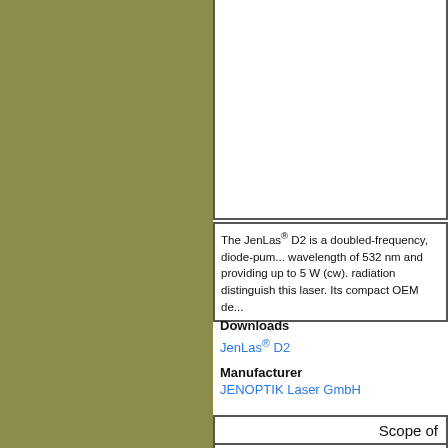[Figure (photo): Product image area for JenLas D2 laser (white/empty area with border)]
The JenLas® D2 is a doubled-frequency, diode-pumped solid-state laser emitting at a wavelength of 532 nm and providing up to 5 W (cw). High beam quality and low noise radiation distinguish this laser. Its compact OEM de...
Downloads
JenLas® D2
Manufacturer
JENOPTIK Laser GmbH
Scope of
Display engineering
Pumping of solid-state lasers